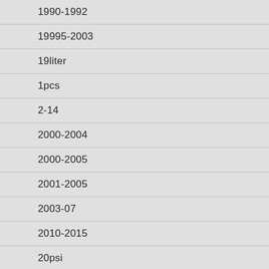1990-1992
19995-2003
19liter
1pcs
2-14
2000-2004
2000-2005
2001-2005
2003-07
2010-2015
20psi
220v